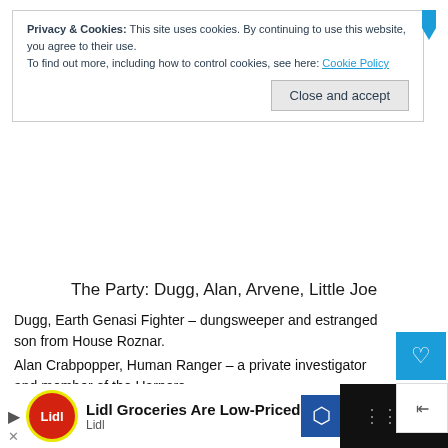Privacy & Cookies: This site uses cookies. By continuing to use this website, you agree to their use.
To find out more, including how to control cookies, see here: Cookie Policy
Close and accept
The Party: Dugg, Alan, Arvene, Little Joe
Dugg, Earth Genasi Fighter – dungsweeper and estranged son from House Roznar.
Alan Crabpopper, Human Ranger – a private investigator and member of the Harpers.
Arvene Galanodel, Half-Elf Cleric – priestess of Tymora, fake ha‌r. Ressurected.
Little Joe, Drow Sorcerer – channeling the spirit of John Wayne, secret member of Bregan D'earth.
[Figure (screenshot): Ad banner at the bottom showing Lidl Groceries Are Low-Priced advertisement with Lidl logo]